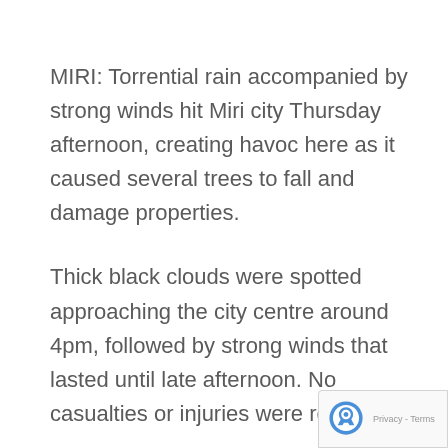MIRI: Torrential rain accompanied by strong winds hit Miri city Thursday afternoon, creating havoc here as it caused several trees to fall and damage properties.
Thick black clouds were spotted approaching the city centre around 4pm, followed by strong winds that lasted until late afternoon. No casualties or injuries were reported.
Several trees and branches were reporte...